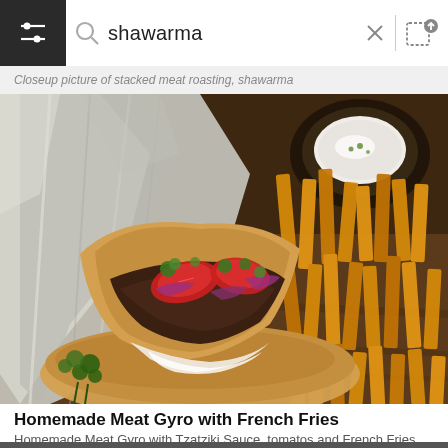[Figure (screenshot): Search bar UI with hamburger/filter menu icon on dark background on left, magnifying glass search icon, text field showing 'shawarma', X close button, vertical divider, and image search icon on right]
Closeup picture of stacked meat roasting, shawarma
[Figure (photo): A shawarma / homemade meat gyro wrap in pita bread with tomatoes, red onions, parsley, tzatziki sauce, wrapped in foil, served on a wooden board with crinkle-cut french fries and a bowl of sauce in the background]
Homemade Meat Gyro with French Fries
Homemade Meat Gyro with Tzatziki Sauce, tomatos and French Fries
[Figure (photo): Partial view of another shawarma wrap at the bottom of the page]